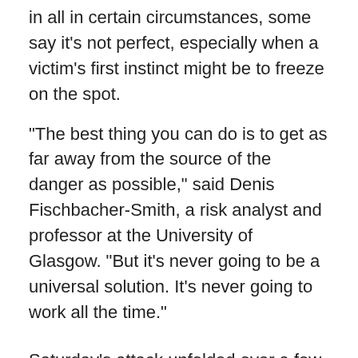in all in certain circumstances, some say it's not perfect, especially when a victim's first instinct might be to freeze on the spot.
"The best thing you can do is to get as far away from the source of the danger as possible," said Denis Fischbacher-Smith, a risk analyst and professor at the University of Glasgow. "But it's never going to be a universal solution. It's never going to work all the time."
Saturday's attack unfolded over a few minutes: First, a rented van veered off the road and drove into pedestrians on busy London Bridge. Three men wielding large knives got out of the van and attacked people at bars and restaurants in the popular